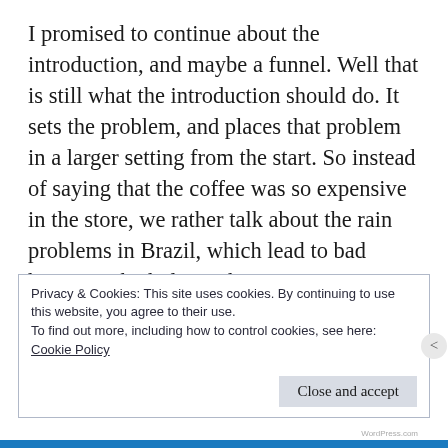I promised to continue about the introduction, and maybe a funnel. Well that is still what the introduction should do. It sets the problem, and places that problem in a larger setting from the start. So instead of saying that the coffee was so expensive in the store, we rather talk about the rain problems in Brazil, which lead to bad harvest, which drove the prices up. You get the point.
Privacy & Cookies: This site uses cookies. By continuing to use this website, you agree to their use.
To find out more, including how to control cookies, see here:
Cookie Policy
Close and accept